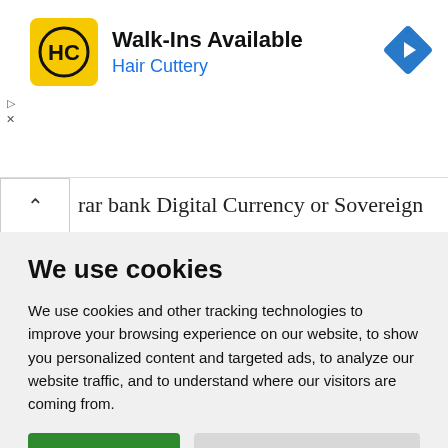[Figure (advertisement): Hair Cuttery ad banner with yellow HC logo, text 'Walk-Ins Available' and 'Hair Cuttery' in blue, and a blue diamond navigation arrow icon on the right]
rar bank Digital Currency or Sovereign
We use cookies
We use cookies and other tracking technologies to improve your browsing experience on our website, to show you personalized content and targeted ads, to analyze our website traffic, and to understand where our visitors are coming from.
I agree   Change my preferences